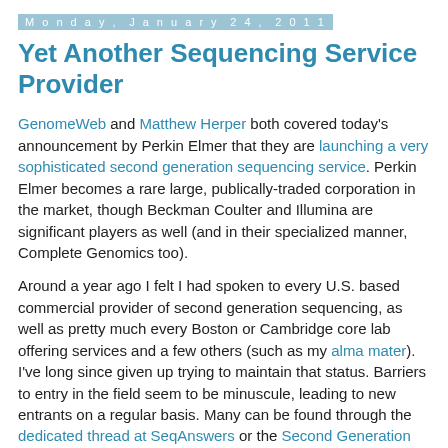Monday, January 24, 2011
Yet Another Sequencing Service Provider
GenomeWeb and Matthew Herper both covered today's announcement by Perkin Elmer that they are launching a very sophisticated second generation sequencing service. Perkin Elmer becomes a rare large, publically-traded corporation in the market, though Beckman Coulter and Illumina are significant players as well (and in their specialized manner, Complete Genomics too).
Around a year ago I felt I had spoken to every U.S. based commercial provider of second generation sequencing, as well as pretty much every Boston or Cambridge core lab offering services and a few others (such as my alma mater). I've long since given up trying to maintain that status. Barriers to entry in the field seem to be minuscule, leading to new entrants on a regular basis. Many can be found through the dedicated thread at SeqAnswers or the Second Generation Sequencer Map, but just Googling for